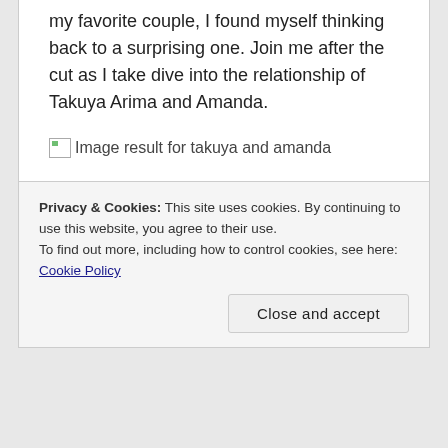my favorite couple, I found myself thinking back to a surprising one. Join me after the cut as I take dive into the relationship of Takuya Arima and Amanda.
[Figure (other): Broken image placeholder with alt text 'Image result for takuya and amanda']
Privacy & Cookies: This site uses cookies. By continuing to use this website, you agree to their use.
To find out more, including how to control cookies, see here: Cookie Policy
Close and accept